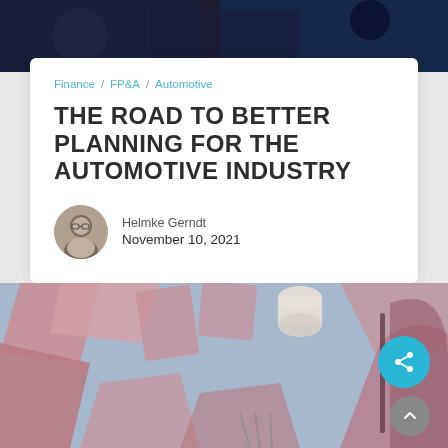[Figure (photo): Dark banner image at the top of the page, appears to show a dark automotive or abstract background]
Finance / FP&A / Automotive
THE ROAD TO BETTER PLANNING FOR THE AUTOMOTIVE INDUSTRY
Helmke Gerndt
November 10, 2021
[Figure (photo): Bottom image showing pink/mauve fabric or leather items arranged on a light blue background, partially visible]